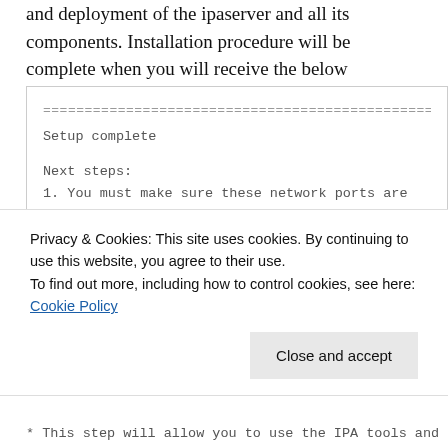and deployment of the ipaserver and all its components. Installation procedure will be complete when you will receive the below message:
================================================
Setup complete

Next steps:
1. You must make sure these network ports are open
TCP Ports:
* 80, 443: HTTP/HTTPS
* 389, 636: LDAP/LDAPS
Privacy & Cookies: This site uses cookies. By continuing to use this website, you agree to their use.
To find out more, including how to control cookies, see here: Cookie Policy
Close and accept
* This step will allow you to use the IPA tools and